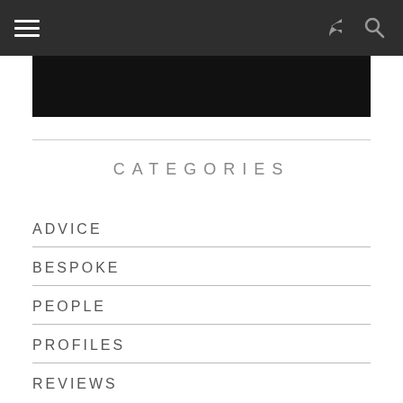navigation bar with hamburger menu, share icon, and search icon
[Figure (photo): Black image/video thumbnail area]
CATEGORIES
ADVICE
BESPOKE
PEOPLE
PROFILES
REVIEWS